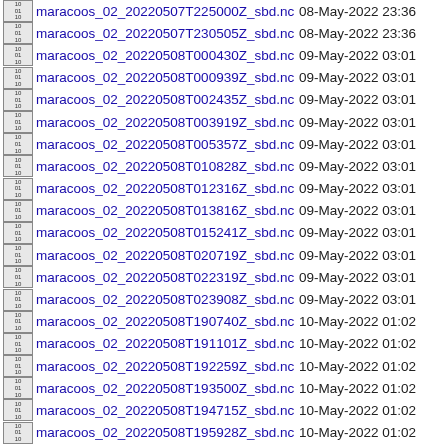maracoos_02_20220507T225000Z_sbd.nc  08-May-2022 23:36
maracoos_02_20220507T230505Z_sbd.nc  08-May-2022 23:36
maracoos_02_20220508T000430Z_sbd.nc  09-May-2022 03:01
maracoos_02_20220508T000939Z_sbd.nc  09-May-2022 03:01
maracoos_02_20220508T002435Z_sbd.nc  09-May-2022 03:01
maracoos_02_20220508T003919Z_sbd.nc  09-May-2022 03:01
maracoos_02_20220508T005357Z_sbd.nc  09-May-2022 03:01
maracoos_02_20220508T010828Z_sbd.nc  09-May-2022 03:01
maracoos_02_20220508T012316Z_sbd.nc  09-May-2022 03:01
maracoos_02_20220508T013816Z_sbd.nc  09-May-2022 03:01
maracoos_02_20220508T015241Z_sbd.nc  09-May-2022 03:01
maracoos_02_20220508T020719Z_sbd.nc  09-May-2022 03:01
maracoos_02_20220508T022319Z_sbd.nc  09-May-2022 03:01
maracoos_02_20220508T023908Z_sbd.nc  09-May-2022 03:01
maracoos_02_20220508T190740Z_sbd.nc  10-May-2022 01:02
maracoos_02_20220508T191101Z_sbd.nc  10-May-2022 01:02
maracoos_02_20220508T192259Z_sbd.nc  10-May-2022 01:02
maracoos_02_20220508T193500Z_sbd.nc  10-May-2022 01:02
maracoos_02_20220508T194715Z_sbd.nc  10-May-2022 01:02
maracoos_02_20220508T195928Z_sbd.nc  10-May-2022 01:02